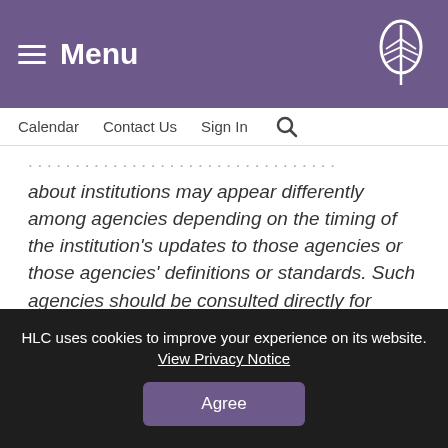Menu
Calendar  Contact Us  Sign In
about institutions may appear differently among agencies depending on the timing of the institution's updates to those agencies or those agencies' definitions or standards. Such agencies should be consulted directly for further information.
HLC uses cookies to improve your experience on its website. View Privacy Notice
Agree